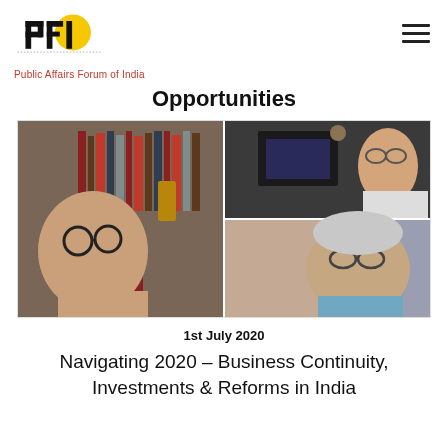Public Affairs Forum of India
Opportunities
[Figure (photo): Video call screenshot showing three participants: a woman with glasses in front of a bookshelf on the left, a man partially visible on the upper right, and an older man with glasses on the lower right.]
1st July 2020
Navigating 2020 – Business Continuity, Investments & Reforms in India